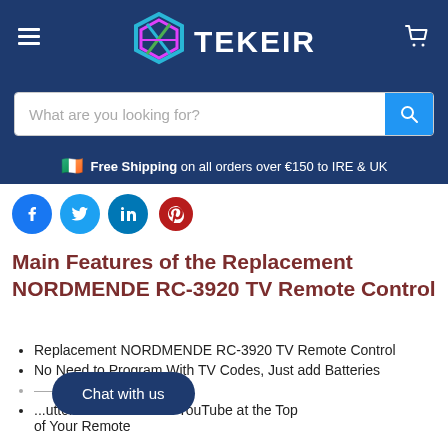[Figure (logo): Tekeir logo with geometric hexagonal icon in teal, pink, blue colors, and white text TEKEIR on dark blue header background]
What are you looking for?
Free Shipping on all orders over €150 to IRE & UK
[Figure (illustration): Social media share icons: Facebook (blue), Twitter (cyan), LinkedIn (blue), Pinterest (red)]
Main Features of the Replacement NORDMENDE RC-3920 TV Remote Control
Replacement NORDMENDE RC-3920 TV Remote Control
No Need to Program With TV Codes, Just add Batteries
...TV
...uttons for Netflix and YouTube at the Top of Your Remote
Chat with us